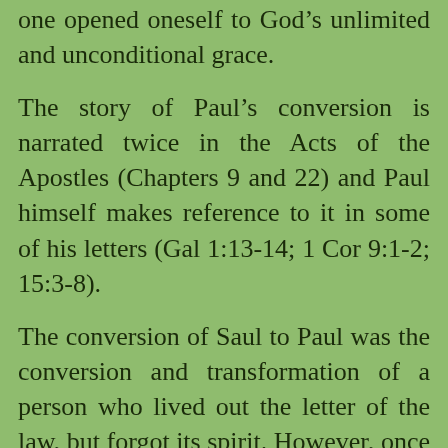one opened oneself to God's unlimited and unconditional grace.
The story of Paul's conversion is narrated twice in the Acts of the Apostles (Chapters 9 and 22) and Paul himself makes reference to it in some of his letters (Gal 1:13-14; 1 Cor 9:1-2; 15:3-8).
The conversion of Saul to Paul was the conversion and transformation of a person who lived out the letter of the law, but forgot its spirit. However, once he allowed God's grace to enter his heart, all that mattered to him was Christ and through Christ divine,